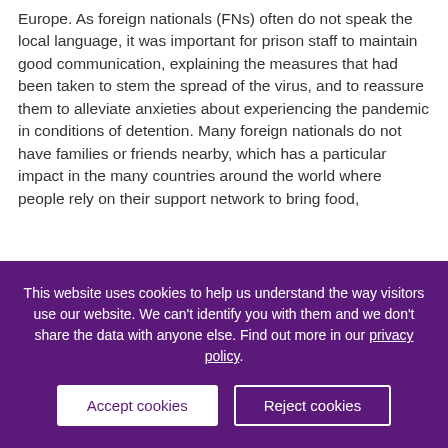Europe. As foreign nationals (FNs) often do not speak the local language, it was important for prison staff to maintain good communication, explaining the measures that had been taken to stem the spread of the virus, and to reassure them to alleviate anxieties about experiencing the pandemic in conditions of detention. Many foreign nationals do not have families or friends nearby, which has a particular impact in the many countries around the world where people rely on their support network to bring food,
This website uses cookies to help us understand the way visitors use our website. We can't identify you with them and we don't share the data with anyone else. Find out more in our privacy policy.